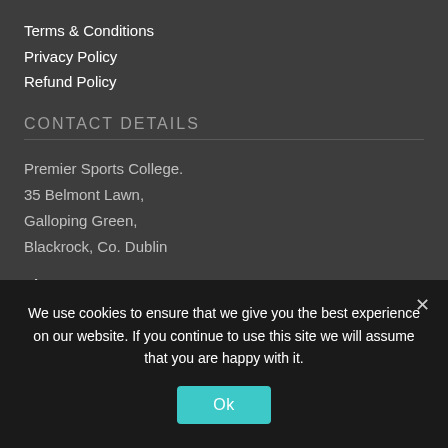Terms & Conditions
Privacy Policy
Refund Policy
CONTACT DETAILS
Premier Sports College.
35 Belmont Lawn,
Galloping Green,
Blackrock, Co. Dublin
Phone: 353 87 7025114
Email: info@premiersportscollege.com
SUSCRIBE TO NEWSLETTER
The latest updates directly to your inbox.
We use cookies to ensure that we give you the best experience on our website. If you continue to use this site we will assume that you are happy with it.